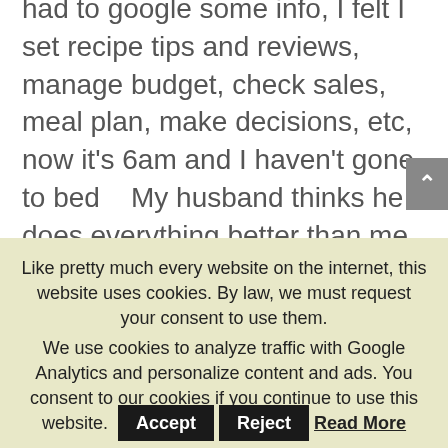had to google some info, I felt I set recipe tips and reviews, manage budget, check sales, meal plan, make decisions, etc, now it’s 6am and I haven’t gone to bed    My husband thinks he does everything better than me because he’s faster and thinks I’m a lousy SAHM because I never manage to get it all done    but he is always impressed with the work I do get done, but I’m afraid
Like pretty much every website on the internet, this website uses cookies. By law, we must request your consent to use them.
We use cookies to analyze traffic with Google Analytics and personalize content and ads. You consent to our cookies if you continue to use this website.